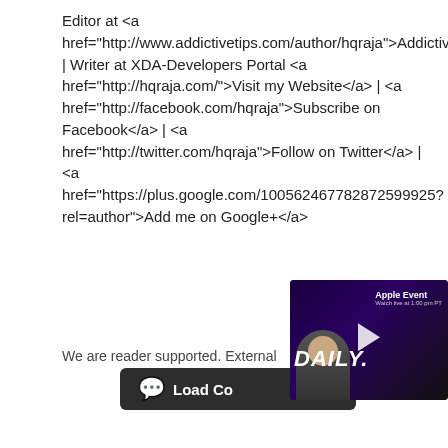Editor at <a href="http://www.addictivetips.com/author/hqraja">AddictiveTips</a> | Writer at XDA-Developers Portal <a href="http://hqraja.com/">Visit my Website</a> | <a href="http://facebook.com/hqraja">Subscribe on Facebook</a> | <a href="http://twitter.com/hqraja">Follow on Twitter</a> | <a href="https://plus.google.com/100562467782872599925?rel=author">Add me on Google+</a>
We are reader supported. External
[Figure (screenshot): Dark button with speech bubble icon and 'Load Co...' text]
[Figure (screenshot): Video overlay showing Apple Event daily news thumbnail with person and play button, with close X button]